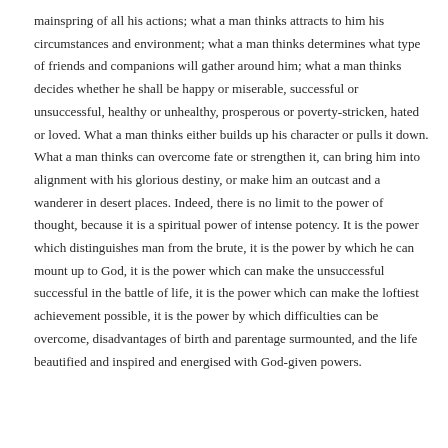mainspring of all his actions; what a man thinks attracts to him his circumstances and environment; what a man thinks determines what type of friends and companions will gather around him; what a man thinks decides whether he shall be happy or miserable, successful or unsuccessful, healthy or unhealthy, prosperous or poverty-stricken, hated or loved. What a man thinks either builds up his character or pulls it down. What a man thinks can overcome fate or strengthen it, can bring him into alignment with his glorious destiny, or make him an outcast and a wanderer in desert places. Indeed, there is no limit to the power of thought, because it is a spiritual power of intense potency. It is the power which distinguishes man from the brute, it is the power by which he can mount up to God, it is the power which can make the unsuccessful successful in the battle of life, it is the power which can make the loftiest achievement possible, it is the power by which difficulties can be overcome, disadvantages of birth and parentage surmounted, and the life beautified and inspired and energised with God-given powers.